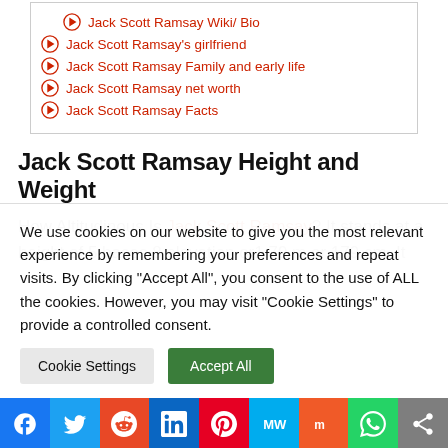Jack Scott Ramsay Wiki/ Bio
Jack Scott Ramsay's girlfriend
Jack Scott Ramsay Family and early life
Jack Scott Ramsay net worth
Jack Scott Ramsay Facts
Jack Scott Ramsay Height and Weight
How Altitudinous Is Jack Scott Ramsay? It stands at a height of 5 bases 8 elevation or1.79 m or 179 cm. It
We use cookies on our website to give you the most relevant experience by remembering your preferences and repeat visits. By clicking "Accept All", you consent to the use of ALL the cookies. However, you may visit "Cookie Settings" to provide a controlled consent.
Cookie Settings   Accept All